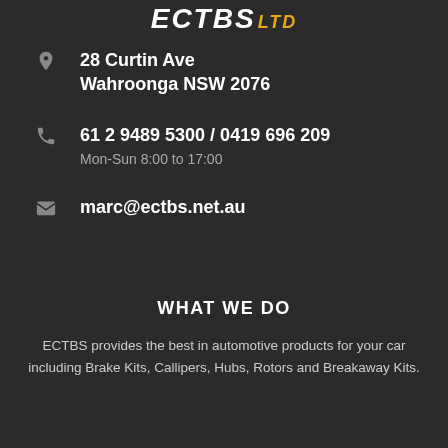[Figure (logo): ECTBS LTD logo in white bold italic text with LTD in orange/gold]
28 Curtin Ave
Wahroonga NSW 2076
61 2 9489 5300 / 0419 696 209
Mon-Sun 8:00 to 17:00
marc@ectbs.net.au
WHAT WE DO
ECTBS provides the best in automotive products for your car including Brake Kits, Callipers, Hubs, Rotors and Breakaway Kits.